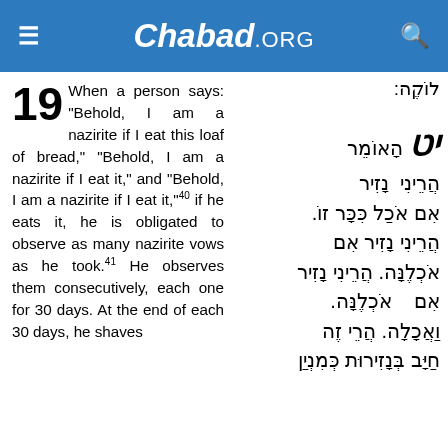Chabad.ORG
לוֹקֶה:
19 When a person says: "Behold, I am a nazirite if I eat this loaf of bread," "Behold, I am a nazirite if I eat it," and "Behold, I am a nazirite if I eat it,"40 if he eats it, he is obligated to observe as many nazirite vows as he took.41 He observes them consecutively, each one for 30 days. At the end of each 30 days, he shaves
יט הָאוֹמֵר הֲרֵינִי נָזִיר אִם אֹכַל כִּכָּר זוֹ. הֲרֵינִי נָזִיר אִם אֹכְלֶנָּה. הֲרֵינִי נָזִיר אִם אֹכְלֶנָּה. וַאֲכָלָה. הֲרֵי זֶה חַיָּב בְּנָזִירוּת כְּמִנְיַן